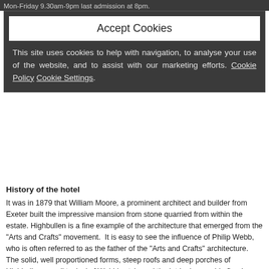Mon-Friday 9.30am-9pm last admission at 8pm.
Accept Cookies
This site uses cookies to help with navigation, to analyse your use of the website, and to assist with our marketing efforts. Cookie Policy Cookie Settings.
History of the hotel
It was in 1879 that William Moore, a prominent architect and builder from Exeter built the impressive mansion from stone quarried from within the estate. Highbullen is a fine example of the architecture that emerged from the "Arts and Crafts" movement.  It is easy to see the influence of Philip Webb, who is often referred to as the father of the "Arts and Crafts" architecture.  The solid, well proportioned forms, steep roofs and deep porches of Highbullen are all typical of Webb's style and the intriguing marble fireplace in the drawing room is of particular note.  Highbullen remained the Moore family’s home for over 40 years.
Jumping forward to World War Two a new and exciting chapter opened in Highbullen’s history.  The substantial ground floor rooms became classrooms when a private school was evacuated there and during this time the grounds were maintained by German prisoners of war.
Dogs Policy